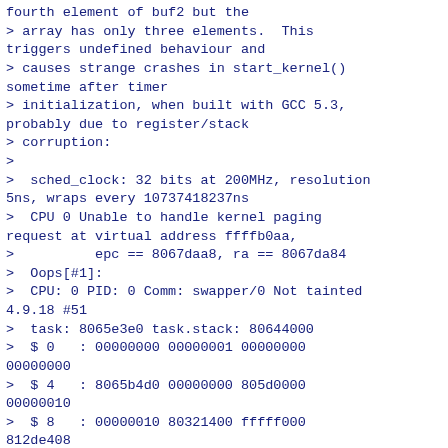fourth element of buf2 but the
> array has only three elements.  This
triggers undefined behaviour and
> causes strange crashes in start_kernel()
sometime after timer
> initialization, when built with GCC 5.3,
probably due to register/stack
> corruption:
>
>  sched_clock: 32 bits at 200MHz, resolution
5ns, wraps every 10737418237ns
>  CPU 0 Unable to handle kernel paging
request at virtual address ffffb0aa,
>          epc == 8067daa8, ra == 8067da84
>  Oops[#1]:
>  CPU: 0 PID: 0 Comm: swapper/0 Not tainted
4.9.18 #51
>  task: 8065e3e0 task.stack: 80644000
>  $ 0   : 00000000 00000001 00000000
00000000
>  $ 4   : 8065b4d0 00000000 805d0000
00000010
>  $ 8   : 00000010 80321400 fffff000
812de408
>  $12   : 00000000 00000000 00000000
ffffffff
>  $16   : 00000002 ffffffff 80660000
806a666c
>  $20   : 806c0000 00000000 00000000
00000000